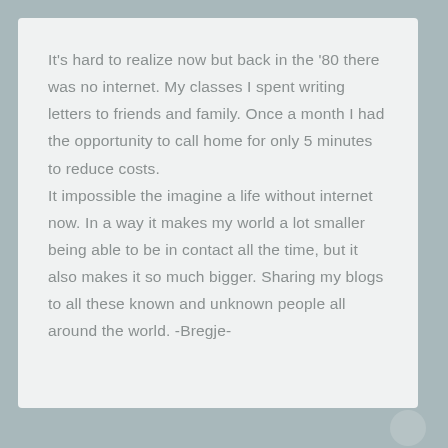It's hard to realize now but back in the '80 there was no internet. My classes I spent writing letters to friends and family. Once a month I had the opportunity to call home for only 5 minutes to reduce costs.
It impossible the imagine a life without internet now. In a way it makes my world a lot smaller being able to be in contact all the time, but it also makes it so much bigger. Sharing my blogs to all these known and unknown people all around the world. -Bregje-